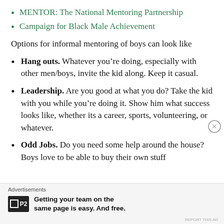MENTOR: The National Mentoring Partnership
Campaign for Black Male Achievement
Options for informal mentoring of boys can look like
Hang outs. Whatever you’re doing, especially with other men/boys, invite the kid along. Keep it casual.
Leadership. Are you good at what you do? Take the kid with you while you’re doing it. Show him what success looks like, whether its a career, sports, volunteering, or whatever.
Odd Jobs. Do you need some help around the house? Boys love to be able to buy their own stuff
Advertisements
Getting your team on the same page is easy. And free.